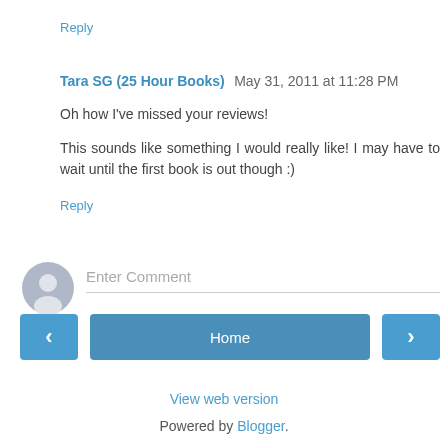Reply
Tara SG (25 Hour Books) May 31, 2011 at 11:28 PM
Oh how I've missed your reviews!
This sounds like something I would really like! I may have to wait until the first book is out though :)
Reply
[Figure (other): User avatar icon placeholder — grey circle with silhouette]
Enter Comment
Home
View web version
Powered by Blogger.